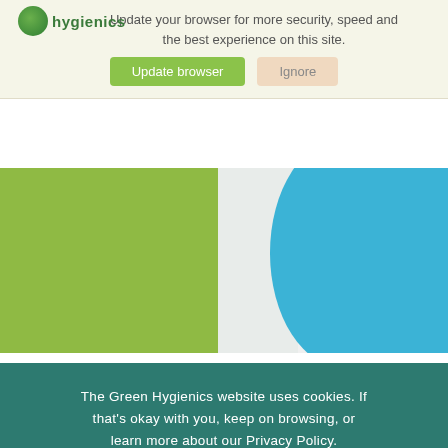hygienics
Update your browser for more security, speed and the best experience on this site.
Update browser   Ignore
[Figure (illustration): Green rectangular block on the left, light gray section in the middle, and a blue curved shape on the right, forming a decorative banner area]
The Green Hygienics website uses cookies. If that's okay with you, keep on browsing, or learn more about our Privacy Policy.
CLOSE